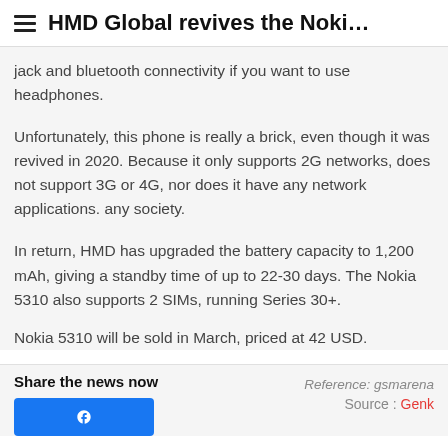HMD Global revives the Noki…
jack and bluetooth connectivity if you want to use headphones.
Unfortunately, this phone is really a brick, even though it was revived in 2020. Because it only supports 2G networks, does not support 3G or 4G, nor does it have any network applications. any society.
In return, HMD has upgraded the battery capacity to 1,200 mAh, giving a standby time of up to 22-30 days. The Nokia 5310 also supports 2 SIMs, running Series 30+.
Nokia 5310 will be sold in March, priced at 42 USD.
Share the news now
Reference: gsmarena
Source: Genk